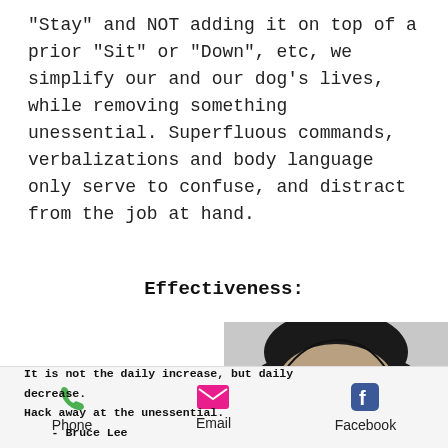"Stay" and NOT adding it on top of a prior "Sit" or "Down", etc, we simplify our and our dog's lives, while removing something unessential. Superfluous commands, verbalizations and body language only serve to confuse, and distract from the job at hand.
Effectiveness:
[Figure (photo): Black and white photo of Bruce Lee with quote text overlay: 'It is not the daily increase, but daily decrease. Hack away at the unessential. - Bruce Lee']
Phone  Email  Facebook